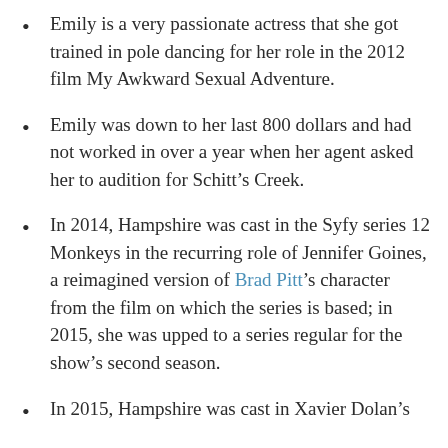Emily is a very passionate actress that she got trained in pole dancing for her role in the 2012 film My Awkward Sexual Adventure.
Emily was down to her last 800 dollars and had not worked in over a year when her agent asked her to audition for Schitt’s Creek.
In 2014, Hampshire was cast in the Syfy series 12 Monkeys in the recurring role of Jennifer Goines, a reimagined version of Brad Pitt’s character from the film on which the series is based; in 2015, she was upped to a series regular for the show’s second season.
In 2015, Hampshire was cast in Xavier Dolan’s